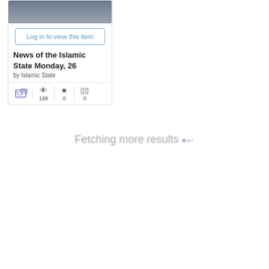[Figure (screenshot): Blurred dark thumbnail image at top of card]
Log in to view this item
News of the Islamic State Monday, 26
by Islamic State
198 views, 0 favorites, 0 comments
Fetching more results